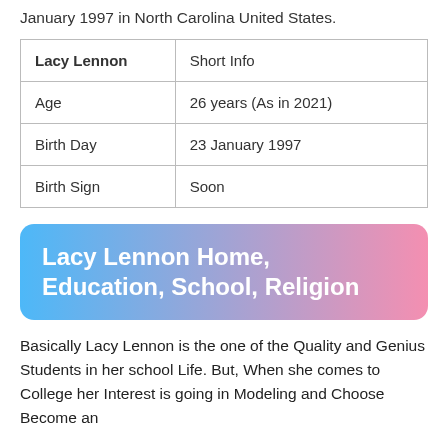January 1997 in North Carolina United States.
| Lacy Lennon | Short Info |
| --- | --- |
| Age | 26 years (As in 2021) |
| Birth Day | 23 January 1997 |
| Birth Sign | Soon |
Lacy Lennon Home, Education, School, Religion
Basically Lacy Lennon is the one of the Quality and Genius Students in her school Life. But, When she comes to College her Interest is going in Modeling and Choose Become an